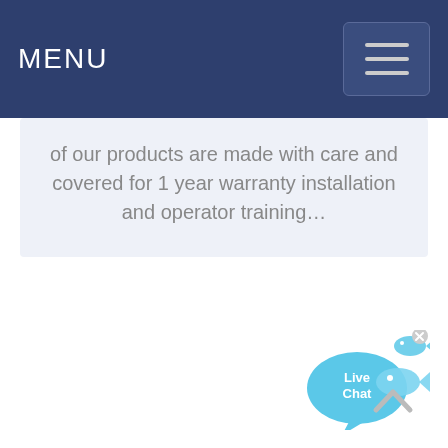MENU
of our products are made with care and covered for 1 year warranty installation and operator training…
[Figure (illustration): Live Chat bubble widget with blue speech bubble shape, 'Live Chat' text inside, and a small fish icon to the right with an X close button]
[Figure (other): Back to top chevron arrow pointing upward]